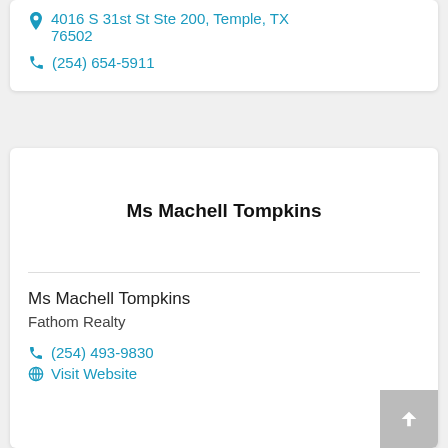4016 S 31st St Ste 200, Temple, TX 76502
(254) 654-5911
Ms Machell Tompkins
Ms Machell Tompkins
Fathom Realty
(254) 493-9830
Visit Website